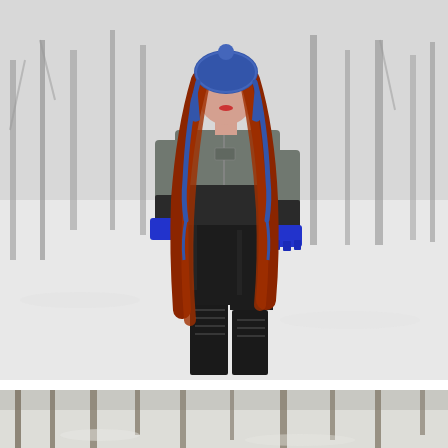[Figure (photo): A young woman with long red hair standing in a snowy park outdoors. She wears a blue patterned knit earflap hat with braided ties, a grey quilted bomber jacket with black leather lower panels, black leather or faux-leather pants, bright royal blue gloves, and tall black lace-up boots. The background shows snow-covered ground and bare winter trees.]
[Figure (photo): Partial view of a second outdoor winter photo, showing a snowy wooded scene with bare trees, bottom portion cut off at page edge.]